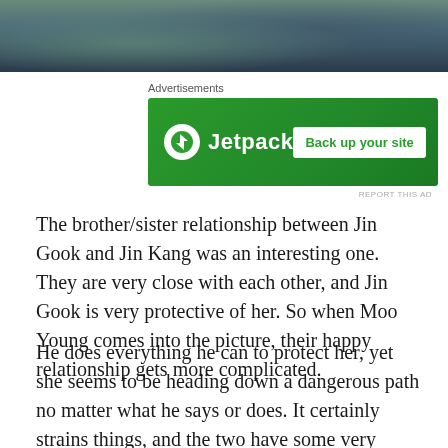[Figure (photo): Cropped photo of two people outdoors, appears to be a scene from a Korean drama]
Advertisements
[Figure (screenshot): Jetpack advertisement banner with green background, Jetpack logo on left, 'Back up your site' button on right]
REPORT THIS AD
The brother/sister relationship between Jin Gook and Jin Kang was an interesting one. They are very close with each other, and Jin Gook is very protective of her. So when Moo Young comes into the picture, their happy relationship gets more complicated.
He does everything he can to protect her, yet she seems to be heading down a dangerous path no matter what he says or does. It certainly strains things, and the two have some very emotional moments with each other as their relationship begins to falter.